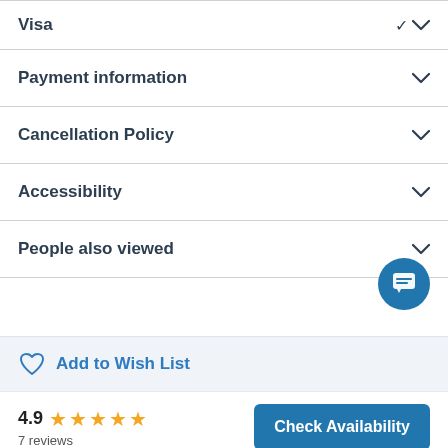Visa
Payment information
Cancellation Policy
Accessibility
People also viewed
Add to Wish List
4.9 ★★★★★ 7 reviews
Check Availability